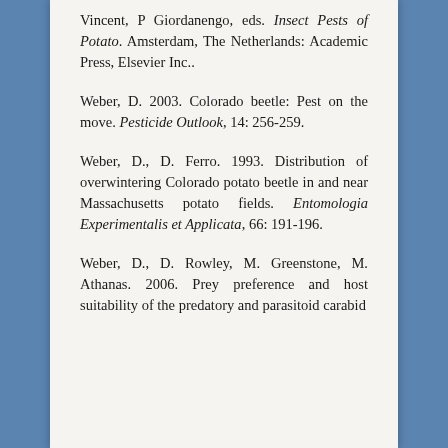Vincent, P Giordanengo, eds. Insect Pests of Potato. Amsterdam, The Netherlands: Academic Press, Elsevier Inc..
Weber, D. 2003. Colorado beetle: Pest on the move. Pesticide Outlook, 14: 256-259.
Weber, D., D. Ferro. 1993. Distribution of overwintering Colorado potato beetle in and near Massachusetts potato fields. Entomologia Experimentalis et Applicata, 66: 191-196.
Weber, D., D. Rowley, M. Greenstone, M. Athanas. 2006. Prey preference and host suitability of the predatory and parasitoid carabid